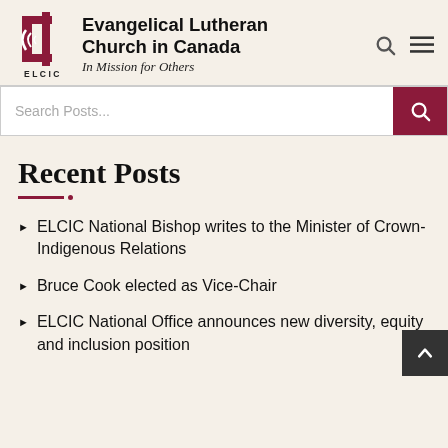Evangelical Lutheran Church in Canada — In Mission for Others
Search Posts...
Recent Posts
ELCIC National Bishop writes to the Minister of Crown-Indigenous Relations
Bruce Cook elected as Vice-Chair
ELCIC National Office announces new diversity, equity and inclusion position